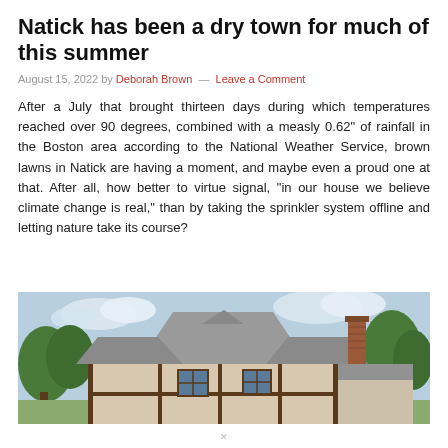Natick has been a dry town for much of this summer
August 15, 2022 by Deborah Brown — Leave a Comment
After a July that brought thirteen days during which temperatures reached over 90 degrees, combined with a measly 0.62" of rainfall in the Boston area according to the National Weather Service, brown lawns in Natick are having a moment, and maybe even a proud one at that. After all, how better to virtue signal, "in our house we believe climate change is real," than by taking the sprinkler system offline and letting nature take its course?
[Figure (photo): Photograph of a Tudor-style house with steep gabled roofs, brick chimney, half-timbered facade, and trees in the background under a partly cloudy sky.]